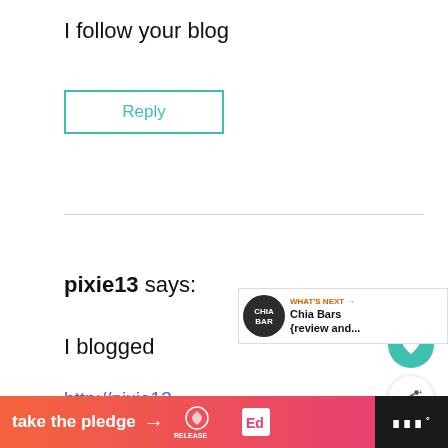I follow your blog
Reply
pixie13 says:
I blogged
http://pixie13-justconteststuff.blogspot.com/200...
[Figure (screenshot): What's Next widget showing Chia Bars review and release logo]
[Figure (infographic): Bottom banner ad: take the pledge with arrow, Release logo, Ed logo, WW logo on dark background]